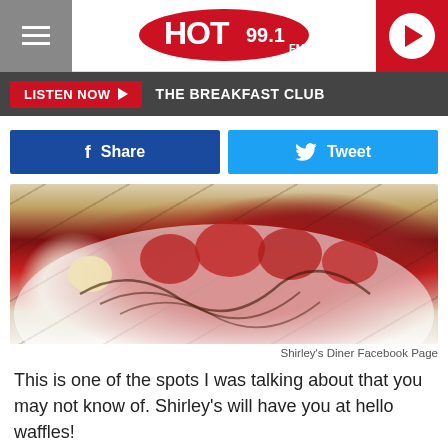[Figure (screenshot): Hot 99.1 FM radio station website header with hamburger menu, logo, and play button]
LISTEN NOW ▶  THE BREAKFAST CLUB
[Figure (other): Social share buttons: Facebook Share and Twitter Tweet]
[Figure (photo): Close-up photo of a plate with strawberries, banana slices, nuts, and chocolate drizzle from Shirley's Diner]
Shirley's Diner Facebook Page
This is one of the spots I was talking about that you may not know of. Shirley's will have you at hello waffles!
[Figure (photo): Photo of On the Hill Cafe storefront sign with sunlight glare]